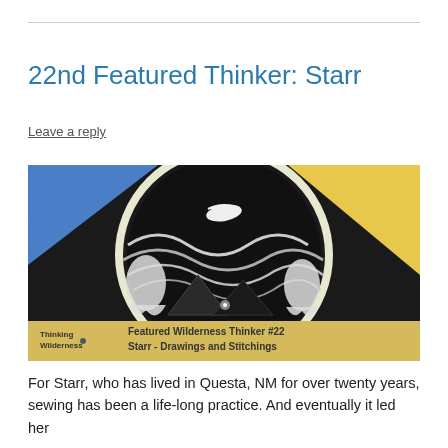22nd Featured Thinker: Starr
Leave a reply
[Figure (illustration): Artwork image showing a circular illustration with waves, birds, and the text 'WILDERNESS REVEALS' around the border. Bottom banner reads 'Thinking Wilderness' logo and 'Featured Wilderness Thinker #22 Starr - Drawings and Stitchings'.]
For Starr, who has lived in Questa, NM for over twenty years, sewing has been a life-long practice. And eventually it led her